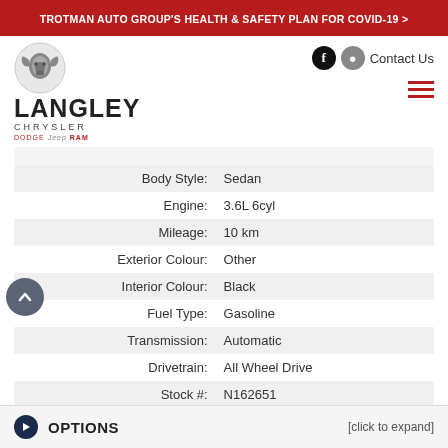TROTMAN AUTO GROUP'S HEALTH & SAFETY PLAN FOR COVID-19 >
[Figure (logo): Langley Chrysler dealership logo with RAM head emblem, brand name LANGLEY CHRYSLER, and sub-brands Dodge, Jeep, RAM]
| Body Style: | Sedan |
| Engine: | 3.6L 6cyl |
| Mileage: | 10 km |
| Exterior Colour: | Other |
| Interior Colour: | Black |
| Fuel Type: | Gasoline |
| Transmission: | Automatic |
| Drivetrain: | All Wheel Drive |
| Stock #: | N162651 |
OPTIONS [click to expand]